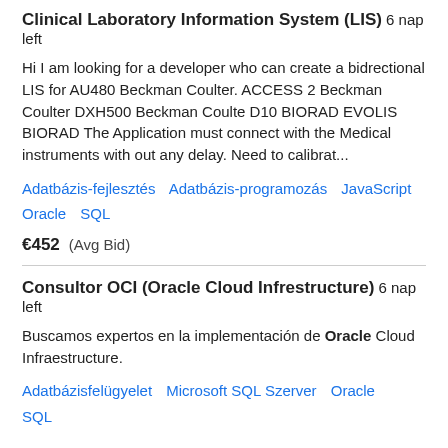Clinical Laboratory Information System (LIS) 6 nap left
Hi I am looking for a developer who can create a bidrectional LIS for AU480 Beckman Coulter. ACCESS 2 Beckman Coulter DXH500 Beckman Coulte D10 BIORAD EVOLIS BIORAD The Application must connect with the Medical instruments with out any delay. Need to calibrat...
Adatbázis-fejlesztés   Adatbázis-programozás   JavaScript   Oracle   SQL
€452  (Avg Bid)
Consultor OCI (Oracle Cloud Infrestructure) 6 nap left
Buscamos expertos en la implementación de Oracle Cloud Infraestructure.
Adatbázisfelügyelet   Microsoft SQL Szerver   Oracle   SQL